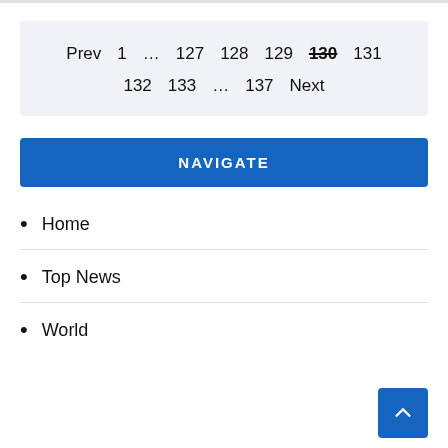Prev  1  …  127  128  129  130  131  132  133  …  137  Next
NAVIGATE
Home
Top News
World